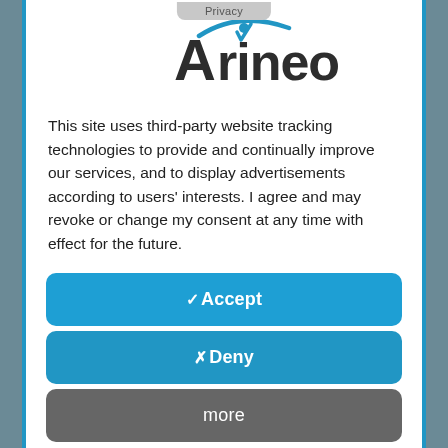[Figure (logo): Arineo company logo with blue swoosh and person icon above the text]
This site uses third-party website tracking technologies to provide and continually improve our services, and to display advertisements according to users' interests. I agree and may revoke or change my consent at any time with effect for the future.
✓ Accept
✗ Deny
more
Powered by usercentrics